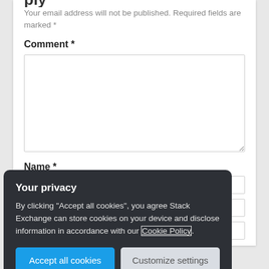Your email address will not be published. Required fields are marked *
Comment *
[Figure (screenshot): Empty comment textarea input field]
Name *
[Figure (screenshot): Empty name input field]
[Figure (screenshot): Empty email input field]
[Figure (screenshot): Cookie consent banner with title 'Your privacy', description text, and two buttons: 'Accept all cookies' and 'Customize settings']